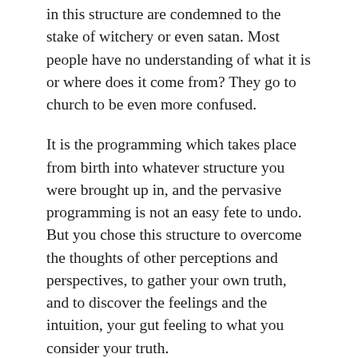in this structure are condemned to the stake of witchery or even satan. Most people have no understanding of what it is or where does it come from? They go to church to be even more confused.
It is the programming which takes place from birth into whatever structure you were brought up in, and the pervasive programming is not an easy fete to undo. But you chose this structure to overcome the thoughts of other perceptions and perspectives, to gather your own truth, and to discover the feelings and the intuition, your gut feeling to what you consider your truth.
You were all born with intuition, you just have to find your way back to this inner wisdom, which then begins to be your truth, and not bomb blasted from the persuasive perceptions of those who really do not know or think they know, because after all the bible is the only place for truth,